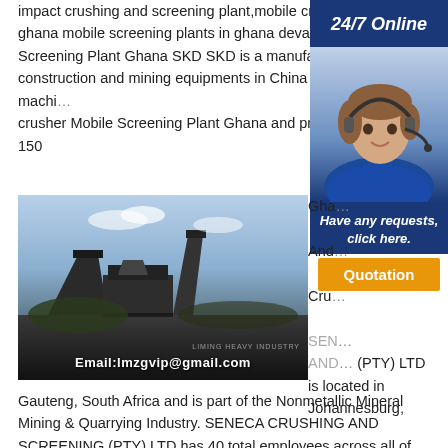impact crushing and screening plant,mobile crushing plant in ghana mobile screening plants in ghana devalklierbe Mobile Screening Plant Ghana SKD SKD is a manufacturer of construction and mining equipments in China and provides machinery crusher Mobile Screening Plant Ghana and proce... 150
[Figure (photo): Industrial mobile crushing and screening plant machinery on a dark earth site, with sky background. Email:lmzgvip@gmail.com watermark overlay. Company watermark: LIMING HEAVY INDUSTRY.]
[Figure (infographic): 24/7 Online customer support panel with dark blue header '24/7 Online', photo of woman with headset representing customer service agent, dark blue section with text 'Have any requests, click here.' and an orange button labeled 'Quotation'.]
Gha... And... Cru... SENECA CRUSHING AND SCREENING (PTY) LTD is located in Johannesburg, Gauteng, South Africa and is part of the Nonmetallic Mineral Mining & Quarrying Industry. SENECA CRUSHING AND SCREENING (PTY) LTD has 40 total employees across all of its locations and generates $4.32 billion in sales (USD). (Employees and Sales